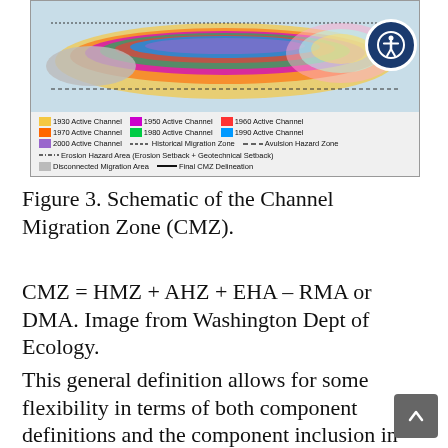[Figure (schematic): Schematic diagram of the Channel Migration Zone (CMZ) showing labeled zones (DMA, AHZ, EHA) with a colorful map of historical active channel locations from 1930-2000 and a legend identifying Historical Migration Zone, Avulsion Hazard Zone, Erosion Hazard Area, Disconnected Migration Area, and Final CMZ Delineation. An accessibility button icon is in the upper right.]
Figure 3. Schematic of the Channel Migration Zone (CMZ).
CMZ = HMZ + AHZ + EHA – RMA or DMA. Image from Washington Dept of Ecology.
This general definition allows for some flexibility in terms of both component definitions and the component inclusion in the CMZ. For example, o